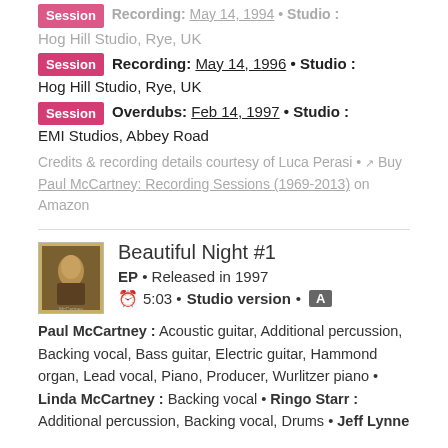Session Recording: May 14, 1996 • Studio : Hog Hill Studio, Rye, UK
Session Overdubs: Feb 14, 1997 • Studio : EMI Studios, Abbey Road
Credits & recording details courtesy of Luca Perasi • Buy Paul McCartney: Recording Sessions (1969-2013) on Amazon
Beautiful Night #1
EP • Released in 1997
5:03 • Studio version • A
Paul McCartney : Acoustic guitar, Additional percussion, Backing vocal, Bass guitar, Electric guitar, Hammond organ, Lead vocal, Piano, Producer, Wurlitzer piano • Linda McCartney : Backing vocal • Ringo Starr : Additional percussion, Backing vocal, Drums • Jeff Lynne